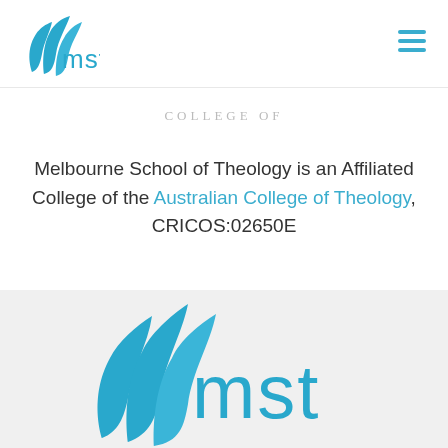[Figure (logo): MST (Melbourne School of Theology) logo - blue leaf/flame icon with 'mst' text in blue, top left header]
[Figure (other): Hamburger menu icon - three horizontal blue lines, top right header]
COLLEGE OF
Melbourne School of Theology is an Affiliated College of the Australian College of Theology, CRICOS:02650E
[Figure (logo): Large MST (Melbourne School of Theology) logo - blue leaf/flame icon with 'mst' text in blue, bottom center footer]